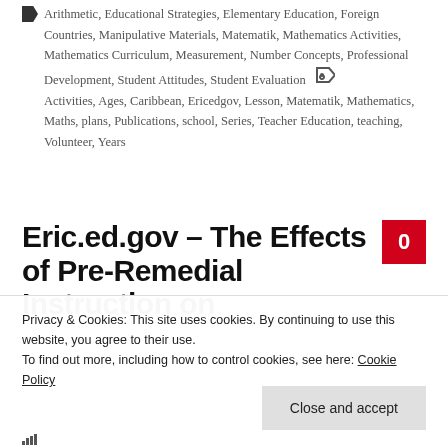Arithmetic, Educational Strategies, Elementary Education, Foreign Countries, Manipulative Materials, Matematik, Mathematics Activities, Mathematics Curriculum, Measurement, Number Concepts, Professional Development, Student Attitudes, Student Evaluation Activities, Ages, Caribbean, Ericedgov, Lesson, Matematik, Mathematics, Maths, plans, Publications, school, Series, Teacher Education, teaching, Volunteer, Years
Eric.ed.gov – The Effects of Pre-Remedial Instruction on
Privacy & Cookies: This site uses cookies. By continuing to use this website, you agree to their use.
To find out more, including how to control cookies, see here: Cookie Policy